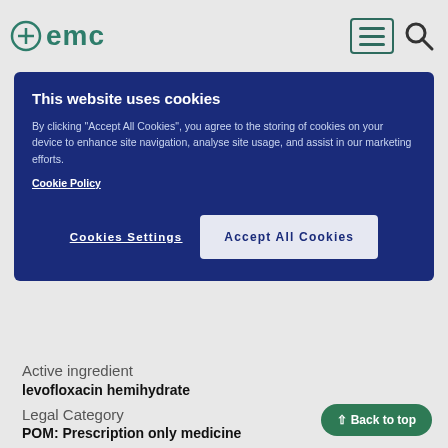emc
This website uses cookies
By clicking "Accept All Cookies", you agree to the storing of cookies on your device to enhance site navigation, analyse site usage, and assist in our marketing efforts.
Cookie Policy
Cookies Settings | Accept All Cookies
Active ingredient
levofloxacin hemihydrate
Legal Category
POM: Prescription only medicine
ATC code
J01MA12
Find similar products